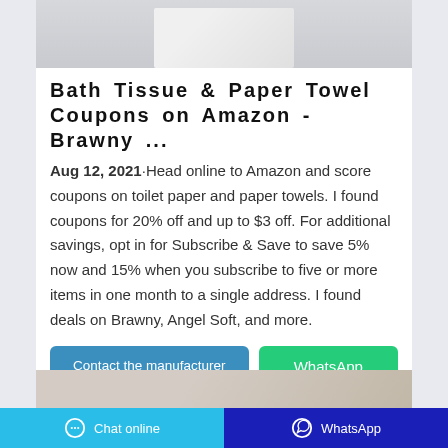[Figure (photo): Product image of paper towels/bath tissue, partially visible at top of card]
Bath Tissue & Paper Towel Coupons on Amazon - Brawny ...
Aug 12, 2021·Head online to Amazon and score coupons on toilet paper and paper towels. I found coupons for 20% off and up to $3 off. For additional savings, opt in for Subscribe & Save to save 5% now and 15% when you subscribe to five or more items in one month to a single address. I found deals on Brawny, Angel Soft, and more.
[Figure (other): Contact the manufacturer button]
[Figure (other): WhatsApp button]
[Figure (photo): Second product image partially visible at bottom]
Chat online   WhatsApp